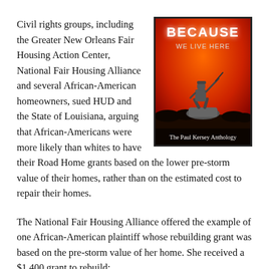Civil rights groups, including the Greater New Orleans Fair Housing Action Center, National Fair Housing Alliance and several African-American homeowners, sued HUD and the State of Louisiana, arguing that African-Americans were more likely than whites to have their Road Home grants based on the lower pre-storm value of their homes, rather than on the estimated cost to repair their homes.
[Figure (illustration): Book cover for 'Because We Live Here: The Paul Kersey Anthology' featuring a bronze statue of a soldier on a rock against a red sky background.]
The National Fair Housing Alliance offered the example of one African-American plaintiff whose rebuilding grant was based on the pre-storm value of her home. She received a $1,400 grant to rebuild;